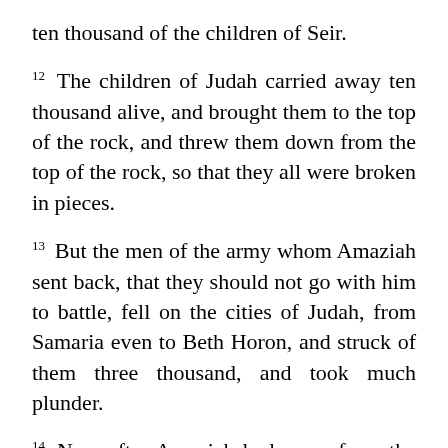ten thousand of the children of Seir.
12 The children of Judah carried away ten thousand alive, and brought them to the top of the rock, and threw them down from the top of the rock, so that they all were broken in pieces.
13 But the men of the army whom Amaziah sent back, that they should not go with him to battle, fell on the cities of Judah, from Samaria even to Beth Horon, and struck of them three thousand, and took much plunder.
14 Now after Amaziah had come from the slaughter of the Edomites, he brought the gods of the children of Seir, and set them up to be his gods, and bowed down himself before